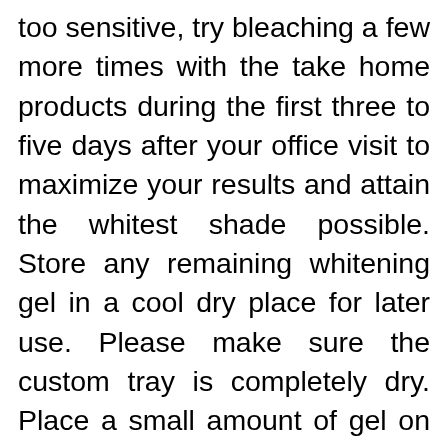too sensitive, try bleaching a few more times with the take home products during the first three to five days after your office visit to maximize your results and attain the whitest shade possible. Store any remaining whitening gel in a cool dry place for later use. Please make sure the custom tray is completely dry. Place a small amount of gel on each of the teeth in the custom tray. Use caution not to overload the tray. Insert the tray over the teeth and gently wipe away any excess gel. Do not leave any gel on the gums because this will cause irritation to your gums. Wear the bleaching trays with the gel for 2 hours. Use all the bleaching gel given. This could last from a few days to a week. If sensitivity is uncomfortable, stop and reduce